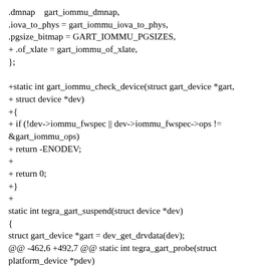.dmnap	gart_iommu_dmnap,
.iova_to_phys = gart_iommu_iova_to_phys,
.pgsize_bitmap = GART_IOMMU_PGSIZES,
+ .of_xlate = gart_iommu_of_xlate,
};

+static int gart_iommu_check_device(struct gart_device *gart,
+ struct device *dev)
+{
+ if (!dev->iommu_fwspec || dev->iommu_fwspec->ops !=
&gart_iommu_ops)
+ return -ENODEV;
+
+ return 0;
+}
+
static int tegra_gart_suspend(struct device *dev)
{
struct gart_device *gart = dev_get_drvdata(dev);
@@ -462,6 +492,7 @@ static int tegra_gart_probe(struct platform_device *pdev)
}

iommu_device_set_ops(&gart->iommu, &gart_iommu_ops);
+ iommu_device_set_fwnode(&gart->iommu, dev->fwnode);